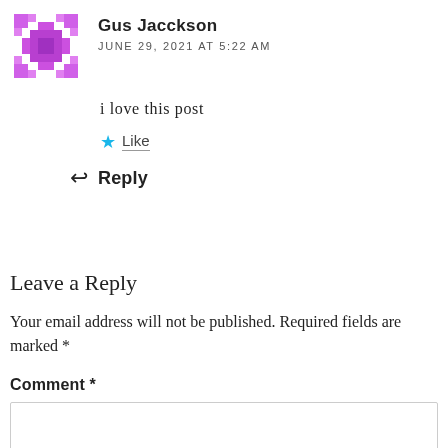[Figure (illustration): Purple pixelated/geometric avatar icon for user Gus Jacckson]
Gus Jacckson
JUNE 29, 2021 AT 5:22 AM
i love this post
★ Like
↩ Reply
Leave a Reply
Your email address will not be published. Required fields are marked *
Comment *